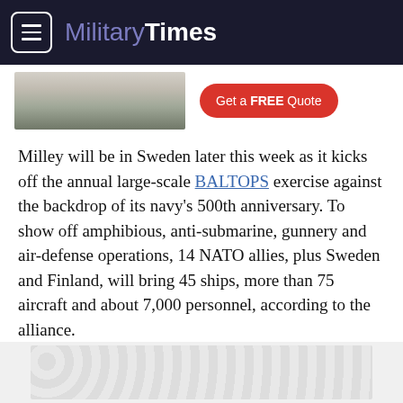Military Times
[Figure (screenshot): Advertisement banner showing a kitchen image and a red 'Get a FREE Quote' button]
Milley will be in Sweden later this week as it kicks off the annual large-scale BALTOPS exercise against the backdrop of its navy's 500th anniversary. To show off amphibious, anti-submarine, gunnery and air-defense operations, 14 NATO allies, plus Sweden and Finland, will bring 45 ships, more than 75 aircraft and about 7,000 personnel, according to the alliance.
[Figure (other): Gray circular pattern advertisement placeholder at bottom of page]